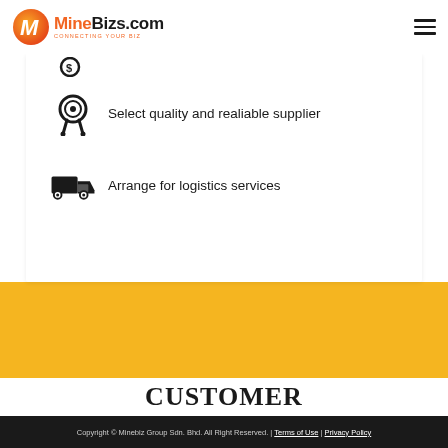MineBizs.com — Connecting Your Biz
[Figure (illustration): Partially visible icon row with money/payment icon, clipped at top]
Select quality and realiable supplier
Arrange for logistics services
CUSTOMER TESTIMONIALS
Copyright © Minebiz Group Sdn. Bhd. All Right Reserved. | Terms of Use | Privacy Policy